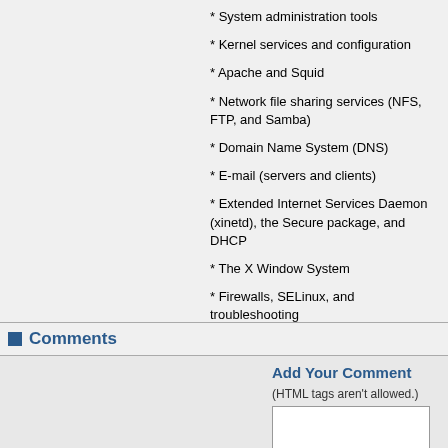* System administration tools
* Kernel services and configuration
* Apache and Squid
* Network file sharing services (NFS, FTP, and Samba)
* Domain Name System (DNS)
* E-mail (servers and clients)
* Extended Internet Services Daemon (xinetd), the Secure package, and DHCP
* The X Window System
* Firewalls, SELinux, and troubleshooting
Comments
Add Your Comment
(HTML tags aren't allowed.)